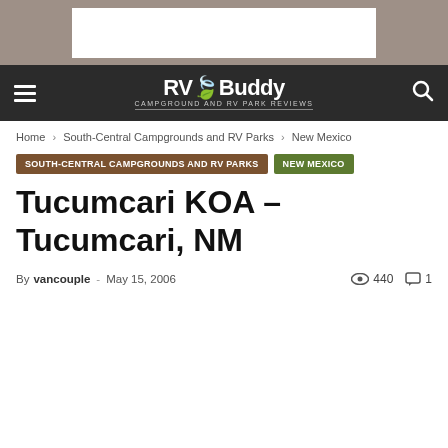[Figure (other): Advertisement banner area with white box on grey background]
RV Buddy — CAMPGROUND AND RV PARK REVIEWS
Home › South-Central Campgrounds and RV Parks › New Mexico
South-Central Campgrounds and RV Parks | New Mexico
Tucumcari KOA – Tucumcari, NM
By vancouple - May 15, 2006   440   1